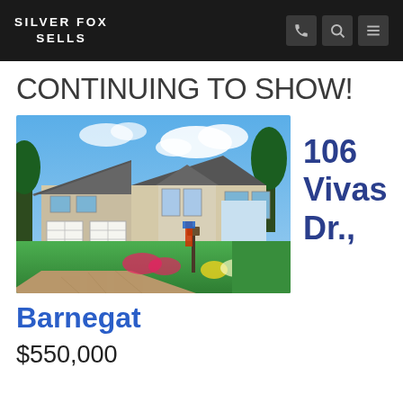SILVER FOX SELLS
CONTINUING TO SHOW!
[Figure (photo): Exterior photo of a large two-story colonial-style home with three-car garage, paver driveway, and lush landscaping under blue skies]
106 Vivas Dr.,
Barnegat
$550,000